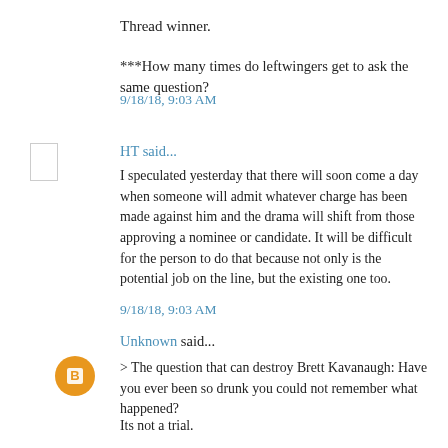Thread winner.
***How many times do leftwingers get to ask the same question?
9/18/18, 9:03 AM
HT said...
I speculated yesterday that there will soon come a day when someone will admit whatever charge has been made against him and the drama will shift from those approving a nominee or candidate. It will be difficult for the person to do that because not only is the potential job on the line, but the existing one too.
9/18/18, 9:03 AM
Unknown said...
> The question that can destroy Brett Kavanaugh: Have you ever been so drunk you could not remember what happened?
Its not a trial.